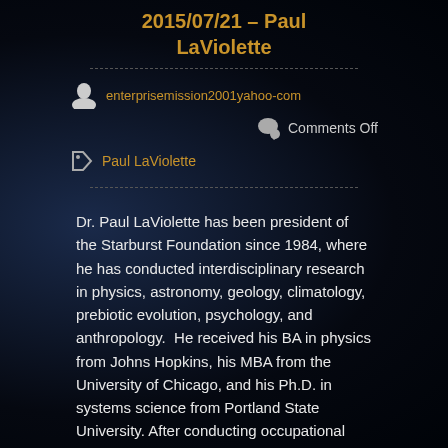2015/07/21 – Paul LaViolette
enterprisemission2001yahoo-com
Comments Off
Paul LaViolette
Dr. Paul LaViolette has been president of the Starburst Foundation since 1984, where he has conducted interdisciplinary research in physics, astronomy, geology, climatology, prebiotic evolution, psychology, and anthropology.  He received his BA in physics from Johns Hopkins, his MBA from the University of Chicago, and his Ph.D. in systems science from Portland State University. After conducting occupational safety research at